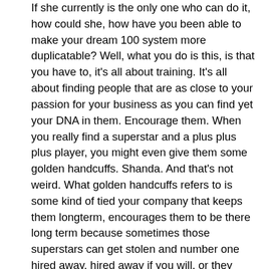If she currently is the only one who can do it, how could she, how have you been able to make your dream 100 system more duplicatable? Well, what you do is this, is that you have to, it's all about training. It's all about finding people that are as close to your passion for your business as you can find yet your DNA in them. Encourage them. When you really find a superstar and a plus plus plus player, you might even give them some golden handcuffs. Shanda. And that's not weird. What golden handcuffs refers to is some kind of tied your company that keeps them longterm, encourages them to be there long term because sometimes those superstars can get stolen and number one hired away, hired away if you will, or they want to go do their own thing and that's okay. But you can never stop recruiting people and never stop training people, so therefore you won't be held hostage. So sometimes when you find that superstar, you say, listen, you know, having a little piece of my deal. Yeah, little stuff and being partners with me, it's working out pretty good. Yeah, it's a good deal. And if you go start your own thing, you won't have me in all the resources that me brings. That's probably not